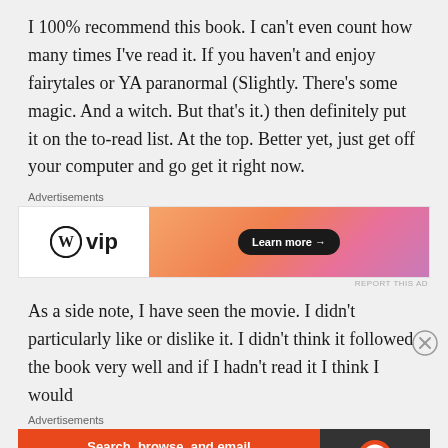I 100% recommend this book. I can't even count how many times I've read it. If you haven't and enjoy fairytales or YA paranormal (Slightly. There's some magic. And a witch. But that's it.) then definitely put it on the to-read list. At the top. Better yet, just get off your computer and go get it right now.
[Figure (infographic): WordPress VIP advertisement banner with orange-pink gradient on right side and 'Learn more →' button]
As a side note, I have seen the movie. I didn't particularly like or dislike it. I didn't think it followed the book very well and if I hadn't read it I think I would
[Figure (infographic): DuckDuckGo advertisement: 'Search, browse, and email with more privacy. All in One Free App' with DuckDuckGo logo on dark background]